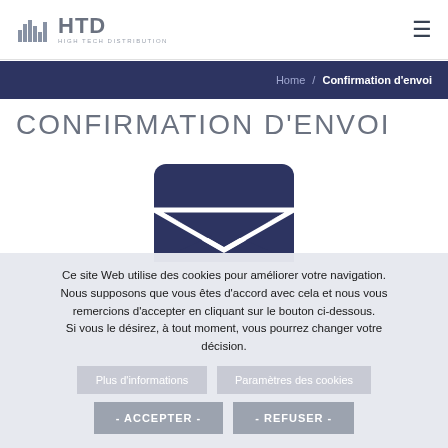[Figure (logo): HTD High Tech Distribution logo with bar chart icon]
Home / Confirmation d'envoi
CONFIRMATION D'ENVOI
[Figure (illustration): Dark navy blue envelope icon indicating email sent]
Ce site Web utilise des cookies pour améliorer votre navigation. Nous supposons que vous êtes d'accord avec cela et nous vous remercions d'accepter en cliquant sur le bouton ci-dessous. Si vous le désirez, à tout moment, vous pourrez changer votre décision.
Plus d'informations
Paramètres des cookies
- ACCEPTER -
- REFUSER -